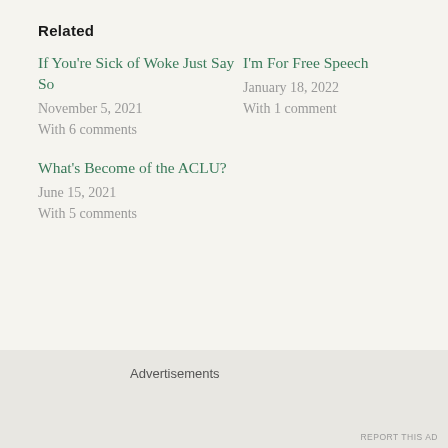Related
If You're Sick of Woke Just Say So
November 5, 2021
With 6 comments
I'm For Free Speech
January 18, 2022
With 1 comment
What's Become of the ACLU?
June 15, 2021
With 5 comments
dave cieslewicz   December 21, 2021   Uncategorized
Advertisements
REPORT THIS AD